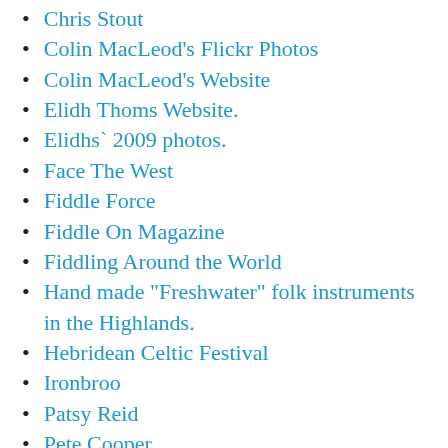Chris Stout
Colin MacLeod's Flickr Photos
Colin MacLeod's Website
Elidh Thoms Website.
Elidhs` 2009 photos.
Face The West
Fiddle Force
Fiddle On Magazine
Fiddling Around the World
Hand made "Freshwater" folk instruments in the Highlands.
Hebridean Celtic Festival
Ironbroo
Patsy Reid
Pete Cooper
Ros' Flickr Photos
Santa Maria Brava